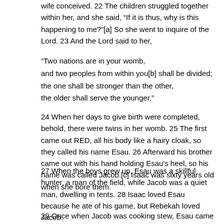wife conceived. 22 The children struggled together within her, and she said, “If it is thus, why is this happening to me?”[a] So she went to inquire of the Lord. 23 And the Lord said to her,
“Two nations are in your womb,
and two peoples from within you[b] shall be divided;
the one shall be stronger than the other,
the older shall serve the younger.”
24 When her days to give birth were completed, behold, there were twins in her womb. 25 The first came out RED, all his body like a hairy cloak, so they called his name Esau. 26 Afterward his brother came out with his hand holding Esau's heel, so his name was called Jacob.[c] Isaac was sixty years old when she bore them.
27 When the boys grew up, Esau was a skillful hunter, a man of the field, while Jacob was a quiet man, dwelling in tents. 28 Isaac loved Esau because he ate of his game, but Rebekah loved Jacob.
29 Once when Jacob was cooking stew, Esau came in